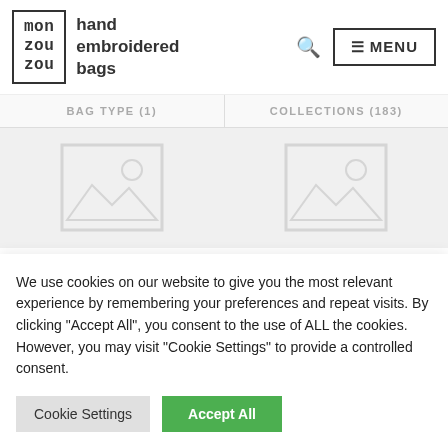mon zou zou — hand embroidered bags
BAG TYPE (1)   COLLECTIONS (183)
[Figure (illustration): Two image placeholders side by side showing missing/loading product images]
We use cookies on our website to give you the most relevant experience by remembering your preferences and repeat visits. By clicking "Accept All", you consent to the use of ALL the cookies. However, you may visit "Cookie Settings" to provide a controlled consent.
Cookie Settings   Accept All